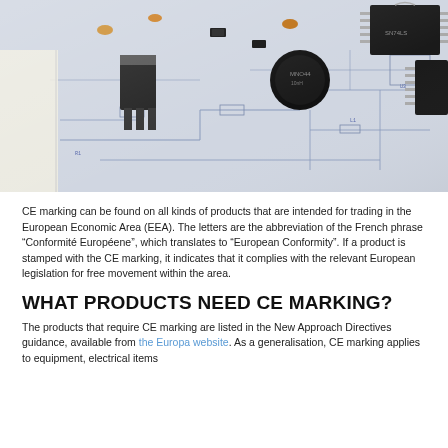[Figure (photo): Close-up photograph of electronic components (capacitors, IC chips, transistors, inductors) placed on top of a circuit schematic/blueprint drawing.]
CE marking can be found on all kinds of products that are intended for trading in the European Economic Area (EEA). The letters are the abbreviation of the French phrase “Conformité Européene”, which translates to “European Conformity”. If a product is stamped with the CE marking, it indicates that it complies with the relevant European legislation for free movement within the area.
WHAT PRODUCTS NEED CE MARKING?
The products that require CE marking are listed in the New Approach Directives guidance, available from the Europa website. As a generalisation, CE marking applies to equipment, electrical items